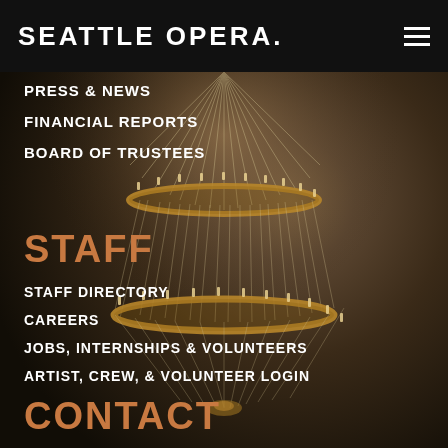SEATTLE OPERA.
PRESS & NEWS
FINANCIAL REPORTS
BOARD OF TRUSTEES
STAFF
STAFF DIRECTORY
CAREERS
JOBS, INTERNSHIPS & VOLUNTEERS
ARTIST, CREW, & VOLUNTEER LOGIN
CONTACT
[Figure (photo): Close-up photograph of an ornate chandelier with glass crystal strands and gold metalwork, photographed from below showing multiple tiers with candle-style bulbs]